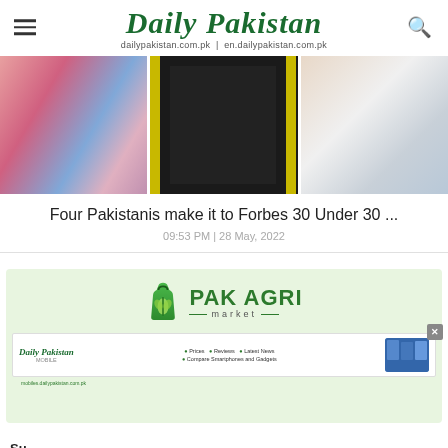Daily Pakistan — dailypakistan.com.pk | en.dailypakistan.com.pk
[Figure (photo): Three-panel image strip: left panel shows a woman in colorful floral dress; center panel shows figure in black clothing against yellow background; right panel shows a person in white clothing with a colorful print shirt.]
Four Pakistanis make it to Forbes 30 Under 30 ...
09:53 PM | 28 May, 2022
[Figure (logo): Pak Agri Market advertisement on light green background, showing a green shopping bag logo with wheat icon and the text PAK AGRI market.]
[Figure (screenshot): Daily Pakistan Mobile advertisement banner showing the Daily Pakistan logo, mobile section branding, bullet points for Prices, Reviews, Latest News, Compare Smartphones and Gadgets, and a phone image thumbnail. Has a close (X) button.]
Su...
10 ...